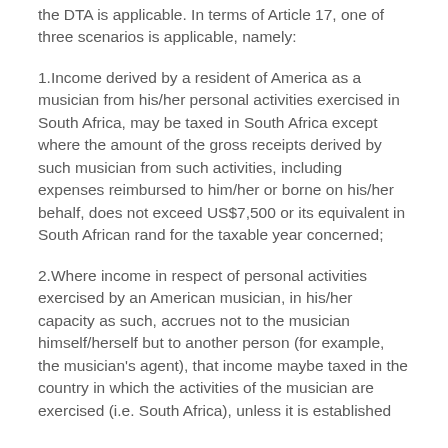the DTA is applicable. In terms of Article 17, one of three scenarios is applicable, namely:
1.Income derived by a resident of America as a musician from his/her personal activities exercised in South Africa, may be taxed in South Africa except where the amount of the gross receipts derived by such musician from such activities, including expenses reimbursed to him/her or borne on his/her behalf, does not exceed US$7,500 or its equivalent in South African rand for the taxable year concerned;
2.Where income in respect of personal activities exercised by an American musician, in his/her capacity as such, accrues not to the musician himself/herself but to another person (for example, the musician's agent), that income maybe taxed in the country in which the activities of the musician are exercised (i.e. South Africa), unless it is established